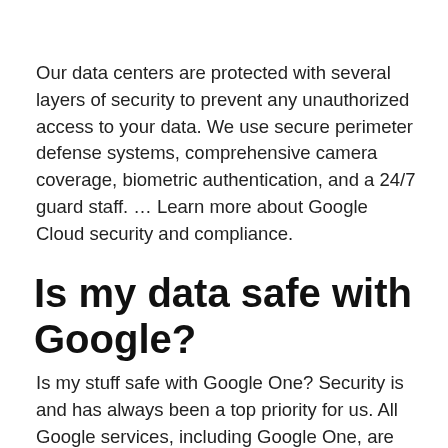Our data centers are protected with several layers of security to prevent any unauthorized access to your data. We use secure perimeter defense systems, comprehensive camera coverage, biometric authentication, and a 24/7 guard staff. … Learn more about Google Cloud security and compliance.
Is my data safe with Google?
Is my stuff safe with Google One? Security is and has always been a top priority for us. All Google services, including Google One, are protected by one of the world's most...